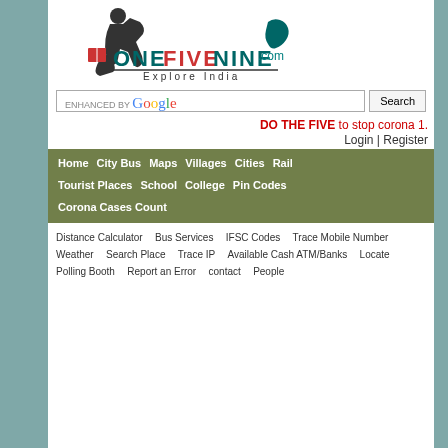[Figure (logo): OneFiveNine.com - Explore India logo with person reading and India map silhouette]
ENHANCED BY Google Search
DO THE FIVE to stop corona 1.
Login | Register
Home  City Bus  Maps  Villages  Cities  Rail
Tourist Places  School  College  Pin Codes
Corona Cases Count
Distance Calculator  Bus Services  IFSC Codes  Trace Mobile Number  Weather  Search Place  Trace IP  Available Cash ATM/Banks  Locate Polling Booth  Report an Error  contact  People